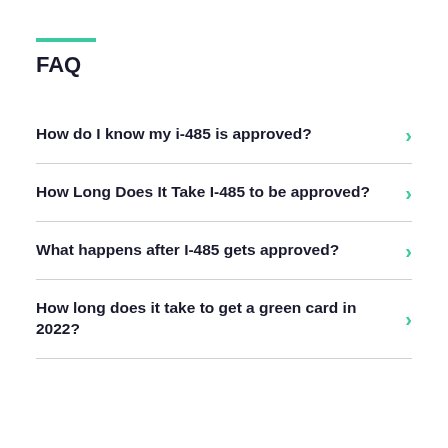FAQ
How do I know my i-485 is approved?
How Long Does It Take I-485 to be approved?
What happens after I-485 gets approved?
How long does it take to get a green card in 2022?